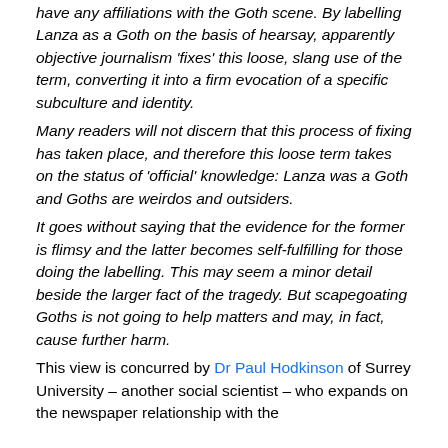have any affiliations with the Goth scene. By labelling Lanza as a Goth on the basis of hearsay, apparently objective journalism 'fixes' this loose, slang use of the term, converting it into a firm evocation of a specific subculture and identity.
Many readers will not discern that this process of fixing has taken place, and therefore this loose term takes on the status of 'official' knowledge: Lanza was a Goth and Goths are weirdos and outsiders.
It goes without saying that the evidence for the former is flimsy and the latter becomes self-fulfilling for those doing the labelling. This may seem a minor detail beside the larger fact of the tragedy. But scapegoating Goths is not going to help matters and may, in fact, cause further harm.
This view is concurred by Dr Paul Hodkinson of Surrey University – another social scientist – who expands on the newspaper relationship with the